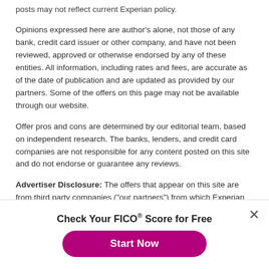posts may not reflect current Experian policy.
Opinions expressed here are author's alone, not those of any bank, credit card issuer or other company, and have not been reviewed, approved or otherwise endorsed by any of these entities. All information, including rates and fees, are accurate as of the date of publication and are updated as provided by our partners. Some of the offers on this page may not be available through our website.
Offer pros and cons are determined by our editorial team, based on independent research. The banks, lenders, and credit card companies are not responsible for any content posted on this site and do not endorse or guarantee any reviews.
Advertiser Disclosure: The offers that appear on this site are from third party companies ("our partners") from which Experian Consumer Services receives compensation. This compensation may impact how, where, and in what order the products appear on this
Check Your FICO® Score for Free
Start Now